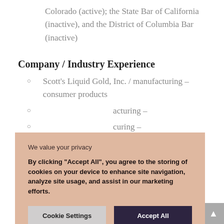Colorado (active); the State Bar of California (inactive), and the District of Columbia Bar (inactive)
Company / Industry Experience
Scott's Liquid Gold, Inc. / manufacturing – consumer products
[partially obscured] / manufacturing –
[partially obscured] / manufacturing – [commercial, and]
[partially obscured] / technology – [vice products] and services
[Figure (screenshot): Cookie consent banner with peach/salmon background. Title: 'We value your privacy'. Body: 'By clicking "Accept All", you agree to the storing of cookies on your device to enhance site navigation, analyze site usage, and assist in our marketing efforts.' Two buttons: 'Cookie Settings' (light gray) and 'Accept All' (dark purple).]